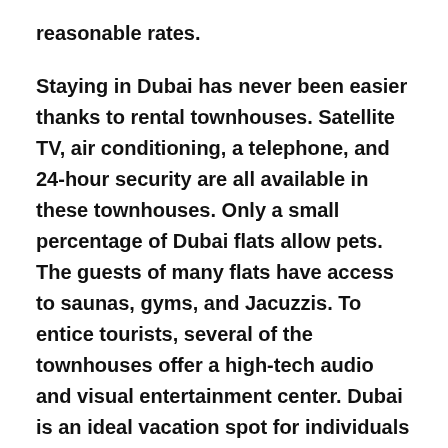reasonable rates.
Staying in Dubai has never been easier thanks to rental townhouses. Satellite TV, air conditioning, a telephone, and 24-hour security are all available in these townhouses. Only a small percentage of Dubai flats allow pets. The guests of many flats have access to saunas, gyms, and Jacuzzis. To entice tourists, several of the townhouses offer a high-tech audio and visual entertainment center. Dubai is an ideal vacation spot for individuals looking for a unique experience.
Residents in Dubai are growing interested in townhouses. The longer you live in Dubai, the more your circumstances change and the more you want the city to feel like Villas. Apartment towers are unfamiliar territory for many